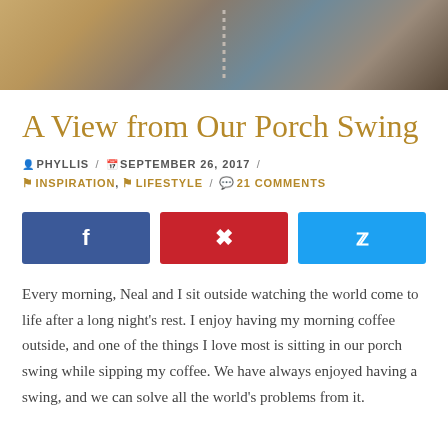[Figure (photo): Partial photo of a porch swing with chain and woven elements, cropped at top of page]
A View from Our Porch Swing
PHYLLIS / SEPTEMBER 26, 2017 / INSPIRATION, LIFESTYLE / 21 COMMENTS
[Figure (infographic): Three social share buttons: Facebook (blue), Pinterest (red), Twitter (light blue)]
Every morning, Neal and I sit outside watching the world come to life after a long night's rest. I enjoy having my morning coffee outside, and one of the things I love most is sitting in our porch swing while sipping my coffee. We have always enjoyed having a swing, and we can solve all the world's problems from it.